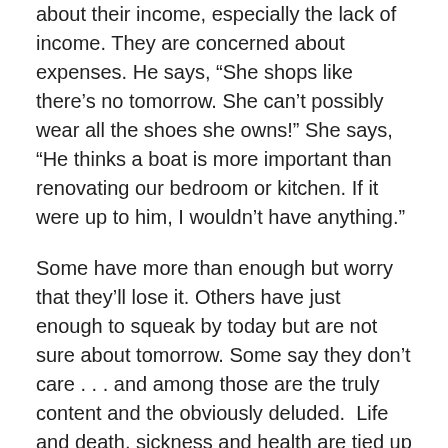about their income, especially the lack of income. They are concerned about expenses. He says, “She shops like there’s no tomorrow. She can’t possibly wear all the shoes she owns!” She says, “He thinks a boat is more important than renovating our bedroom or kitchen. If it were up to him, I wouldn’t have anything.”
Some have more than enough but worry that they’ll lose it. Others have just enough to squeak by today but are not sure about tomorrow. Some say they don’t care . . . and among those are the truly content and the obviously deluded. Life and death, sickness and health are tied up in these issues. FREE ADVICE: The best place to be in regard to finances is completely out of debt.
3. Health Issues. What happens if I get sick? How will we get by? OR I’m so tired of hospitals and doctors. I’m sick